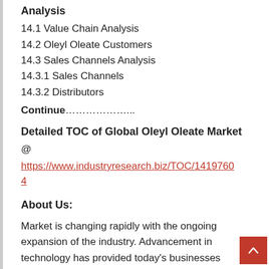Analysis
14.1 Value Chain Analysis
14.2 Oleyl Oleate Customers
14.3 Sales Channels Analysis
14.3.1 Sales Channels
14.3.2 Distributors
Continue………………..
Detailed TOC of Global Oleyl Oleate Market @ https://www.industryresearch.biz/TOC/14197604
About Us:
Market is changing rapidly with the ongoing expansion of the industry. Advancement in technology has provided today's businesses